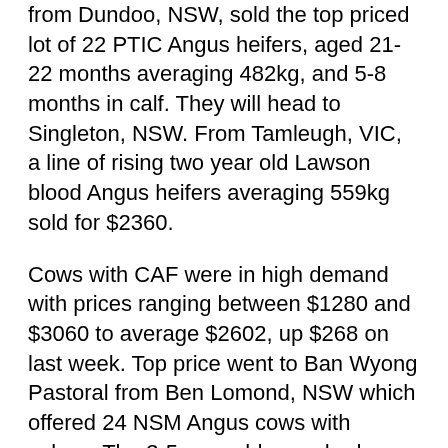from Dundoo, NSW, sold the top priced lot of 22 PTIC Angus heifers, aged 21-22 months averaging 482kg, and 5-8 months in calf. They will head to Singleton, NSW. From Tamleugh, VIC, a line of rising two year old Lawson blood Angus heifers averaging 559kg sold for $2360.
Cows with CAF were in high demand with prices ranging between $1280 and $3060 to average $2602, up $268 on last week. Top price went to Ban Wyong Pastoral from Ben Lomond, NSW which offered 24 NSM Angus cows with calves. The 3-5 year old cows had Coffin Creek, Wattletop and Te Mania bloodlines and their 7-13 week old CAF averaged 124kg. From Redesdale, VIC a line of NSM cows and calves, 30 months averaging 602kg sold for $2800.
Steer numbers deceased this week with 4196 head offered, 2561 less than last week.